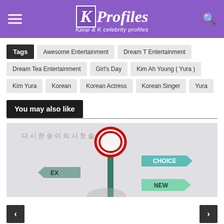KProfiles — Kpop & K celebrity profiles
Tags: Awesome Entertainment, Dream T Entertainment, Dream Tea Entertainment, Girl's Day, Kim Ah Young ( Yura ), Kim Yura, Korean, Korean Actress, Korean Singer, Yura
You may also like
[Figure (photo): Street sign post with a red circular sign on top and three direction signs: EX (left), CHOICE (right, teal), NEW (right, green). Korean characters visible in background.]
Navigation arrows: previous and next